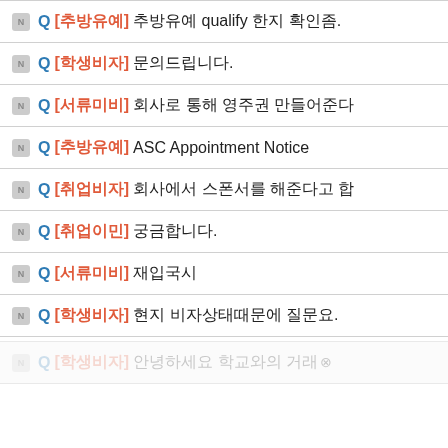Q [추방유예] 추방유예 qualify 한지 확인좀.
Q [학생비자] 문의드립니다.
Q [서류미비] 회사로 통해 영주권 만들어준다
Q [추방유예] ASC Appointment Notice
Q [취업비자] 회사에서 스폰서를 해준다고 합
Q [취업이민] 궁금합니다.
Q [서류미비] 재입국시
Q [학생비자] 현지 비자상태때문에 질문요.
Q [학생비자] 안녕하세요 학교와의 거래×